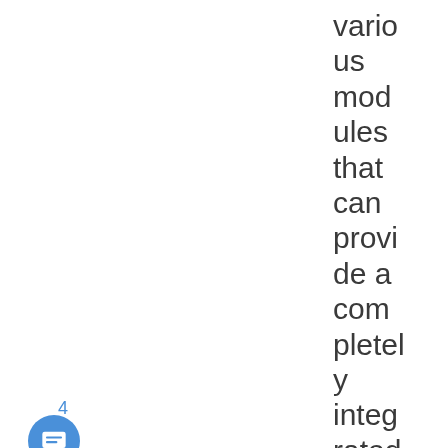various modules that can provide a completely integrated WFRP4e experience withi
4